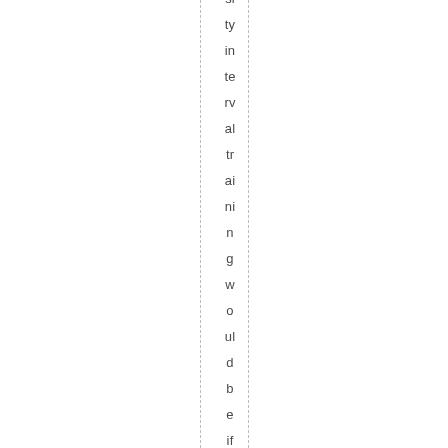si ty in te rv al tr ai ni n g w o ul d b e if h